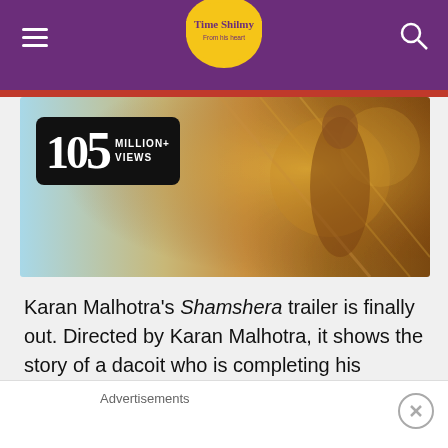Time Shilmy
[Figure (photo): Shamshera movie banner showing 105 Million+ Views badge over a movie still with golden/amber tones]
Karan Malhotra's Shamshera trailer is finally out. Directed by Karan Malhotra, it shows the story of a dacoit who is completing his father's mission. Ranbir Kapoor portrays both father and son in the film. Sanjay Dutt is cast as the antagonist Shuddh Singh. He is employed by the British to
Advertisements